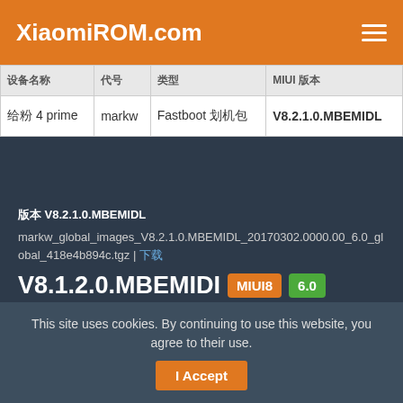XiaomiROM.com
| 设备名称 | 代号 | 类型 | MIUI 版本 |
| --- | --- | --- | --- |
| 红米 4 prime | markw | Fastboot 刷机包 | V8.2.1.0.MBEMIDL |
版本 V8.2.1.0.MBEMIDL
markw_global_images_V8.2.1.0.MBEMIDL_20170302.0000.00_6.0_global_418e4b894c.tgz | 下载
V8.1.2.0.MBEMIDI MIUI8 6.0
红米 4 prime 国际版 全量包 Fastboot 刷机包 MIUI ROM